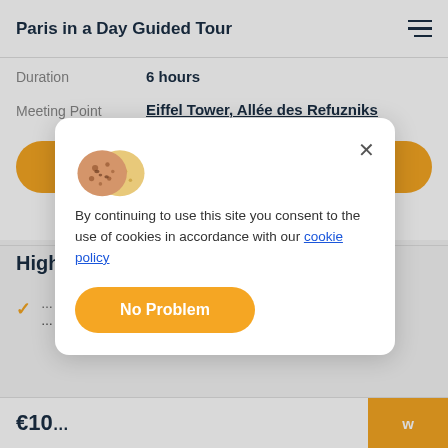Paris in a Day Guided Tour
Duration	6 hours
Meeting Point	Eiffel Tower, Allée des Refuzniks
Book Now
Hig…
… tour …
€10…
[Figure (screenshot): Cookie consent modal with cookie emoji icon, close X button, consent text referencing cookie policy link, and a 'No Problem' orange button]
By continuing to use this site you consent to the use of cookies in accordance with our cookie policy
No Problem